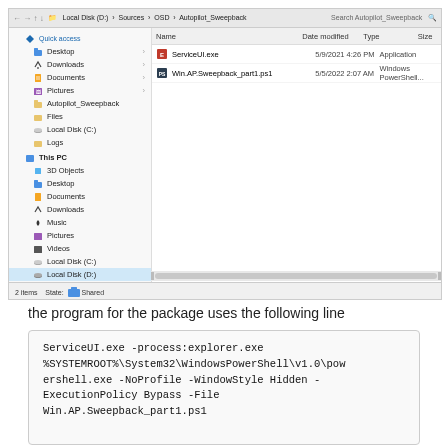[Figure (screenshot): Windows File Explorer showing Local Disk (D:) > Sources > OSD > Autopilot_Sweepback folder with two files: ServiceUI.exe (5/9/2021 4:26 PM, Application) and Win.AP.Sweepback_part1.ps1 (5/5/2022 2:07 AM, Windows PowerShell...). Left nav shows Quick access, Desktop, Downloads, Documents, Pictures, Autopilot_Sweepback, Files, Local Disk (C:), Logs, This PC, 3D Objects, Desktop, Documents, Downloads, Music, Pictures, Videos, Local Disk (C:), Local Disk (D:) selected, WSUS_DB (E:), CM_DB (F:), Network. Status bar: 2 items, State: Shared.]
the program for the package uses the following line
ServiceUI.exe -process:explorer.exe %SYSTEMROOT%\System32\WindowsPowerShell\v1.0\powershell.exe -NoProfile -WindowStyle Hidden -ExecutionPolicy Bypass -File Win.AP.Sweepback_part1.ps1